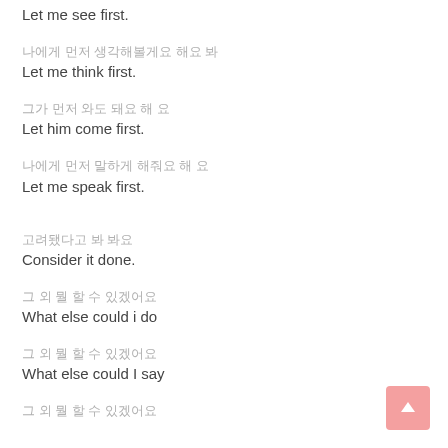Let me see first.
나에게 먼저 생각해볼게요 Let me think first.
그가 먼저 와도 돼요 Let him come first.
나에게 먼저 말하게 해줘요 Let me speak first.
고려됐다고 봐요 Consider it done.
그 외 뭘 할 수 있겠어요 What else could i do
그 외 뭘 할 수 있겠어요 What else could I say
그 외 뭘 할 수 있겠어요